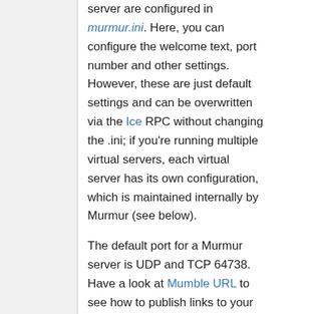The default settings for a Murmur server are configured in murmur.ini. Here, you can configure the welcome text, port number and other settings. However, these are just default settings and can be overwritten via the Ice RPC without changing the .ini; if you're running multiple virtual servers, each virtual server has its own configuration, which is maintained internally by Murmur (see below).
The default port for a Murmur server is UDP and TCP 64738. Have a look at Mumble URL to see how to publish links to your server, and SRV Record configuration.
Adding an authenticated user